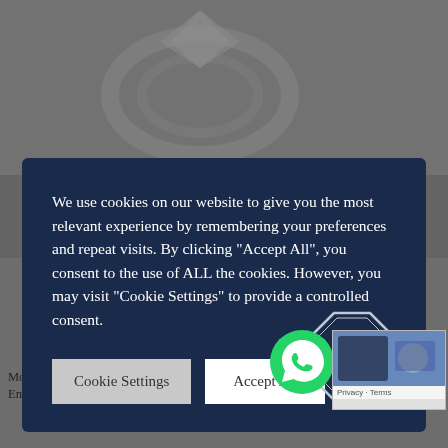[Figure (photo): Jewelry product image (ring) partially visible at top of page, gray background]
We use cookies on our website to give you the most relevant experience by remembering your preferences and repeat visits. By clicking “Accept All”, you consent to the use of ALL the cookies. However, you may visit "Cookie Settings" to provide a controlled consent.
[Figure (other): Cookie Settings button]
[Figure (other): Accept All button]
[Figure (logo): JC monogram logo in octagonal frame, white on dark navy]
[Figure (photo): Jewelry earring product image partially visible at bottom center]
Monan Art Deco Style Emerald Diamond Earrings
Monan Art Deco Style
[Figure (other): WhatsApp chat button, green circle]
[Figure (screenshot): Privacy - Terms thumbnail image in bottom right corner]